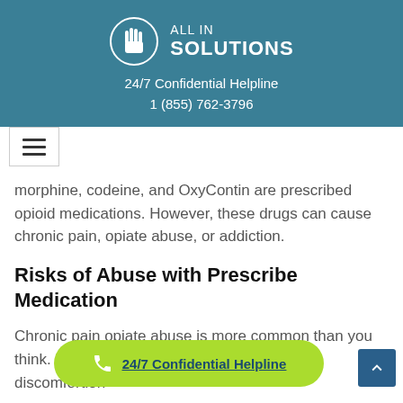[Figure (logo): All In Solutions logo with hand icon in circle and text 'ALL IN SOLUTIONS', with 24/7 Confidential Helpline and phone number 1 (855) 762-3796]
[Figure (other): Hamburger menu button (three horizontal lines) in white box]
morphine, codeine, and OxyContin are prescribed opioid medications. However, these drugs can cause chronic pain, opiate abuse, or addiction.
Risks of Abuse with Prescribe Medication
Chronic pain opiate abuse is more common than you think. Ho... ain a... discomfor... tion
[Figure (other): Green pill-shaped callout button with phone icon and '24/7 Confidential Helpline' underlined text in blue]
[Figure (other): Back to top button (dark blue square with upward chevron arrow)]